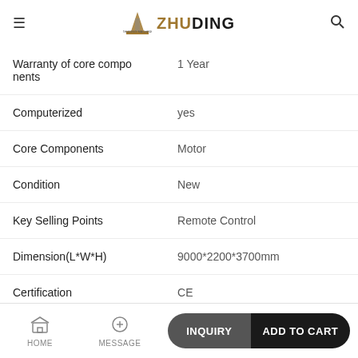ZHUDING
| Property | Value |
| --- | --- |
| Warranty of core components | 1 Year |
| Computerized | yes |
| Core Components | Motor |
| Condition | New |
| Key Selling Points | Remote Control |
| Dimension(L*W*H) | 9000*2200*3700mm |
| Certification | CE |
| Voltage | 380/220V |
HOME   MESSAGE   INQUIRY   ADD TO CART